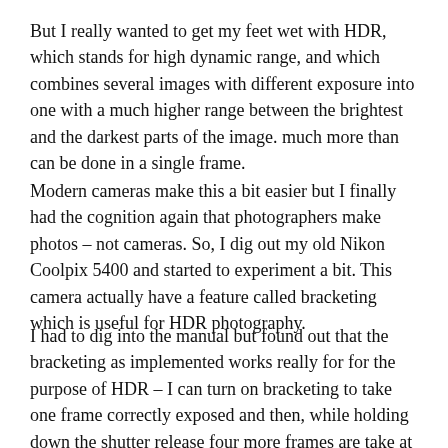But I really wanted to get my feet wet with HDR, which stands for high dynamic range, and which combines several images with different exposure into one with a much higher range between the brightest and the darkest parts of the image. much more than can be done in a single frame.
Modern cameras make this a bit easier but I finally had the cognition again that photographers make photos – not cameras. So, I dig out my old Nikon Coolpix 5400 and started to experiment a bit. This camera actually have a feature called bracketing which is useful for HDR photography.
I had to dig into the manual but found out that the bracketing as implemented works really for for the purpose of HDR – I can turn on bracketing to take one frame correctly exposed and then, while holding down the shutter release four more frames are take at -2, -1, +1 and +2 stops. After taking these